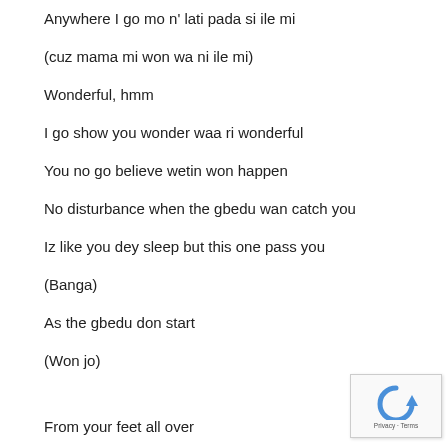Anywhere I go mo n' lati pada si ile mi
(cuz mama mi won wa ni ile mi)
Wonderful, hmm
I go show you wonder waa ri wonderful
You no go believe wetin won happen
No disturbance when the gbedu wan catch you
Iz like you dey sleep but this one pass you
(Banga)
As the gbedu don start
(Won jo)
From your feet all over
[Figure (logo): reCAPTCHA logo with Privacy and Terms footer]